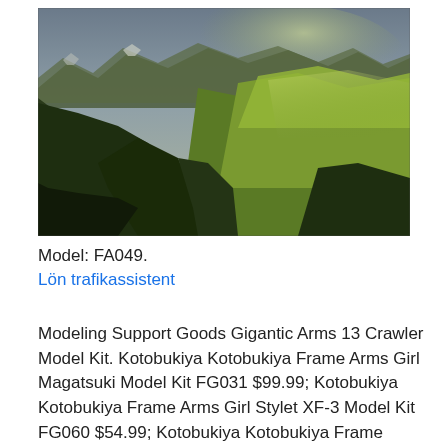[Figure (photo): Dramatic mountain landscape with green rolling hills and mountains under a moody sky with sunlight illuminating the valley.]
Model: FA049.
Lön trafikassistent
Modeling Support Goods Gigantic Arms 13 Crawler Model Kit. Kotobukiya Kotobukiya Frame Arms Girl Magatsuki Model Kit FG031 $99.99; Kotobukiya Kotobukiya Frame Arms Girl Stylet XF-3 Model Kit FG060 $54.99; Kotobukiya Kotobukiya Frame Arms Girl Baselard Model Kit FG010 $84.99; Kotobukiya